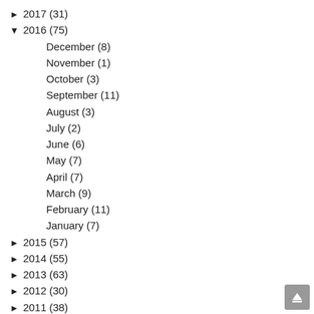▶ 2017 (31)
▼ 2016 (75)
December (8)
November (1)
October (3)
September (11)
August (3)
July (2)
June (6)
May (7)
April (7)
March (9)
February (11)
January (7)
▶ 2015 (57)
▶ 2014 (55)
▶ 2013 (63)
▶ 2012 (30)
▶ 2011 (38)